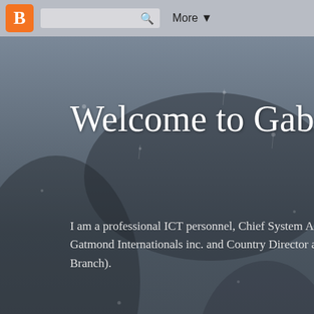Blogger | More ▾
Welcome to Gabriel A
I am a professional ICT personnel, Chief System Ana... Gatmond Internationals inc. and Country Director at ... Branch).
Friday, 27 January 2017
46 Marketing Tools to Consider for 2017
What are the hottest marketing tools you should be using in 2...
As we test out a lot of tools, we are going to share the tools w... basis. This may not be the definitive list of all the best mark...